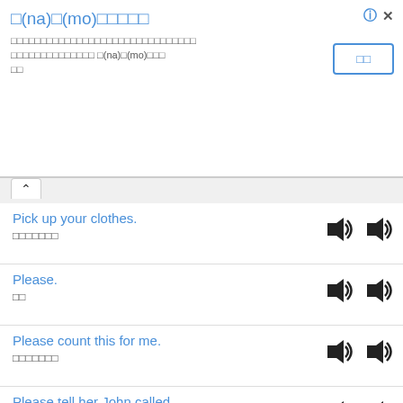□(na)□(mo)□□□□□
□□□□□□□□□□□□□□□□□□□□□□□□□□□ □(na)□(mo)□□□□
Pick up your clothes. / □□□□□□□
Please. / □□
Please count this for me. / □□□□□□□
Please tell her John called. / □□□□□□□□□□
Please tell me. / □□□□□